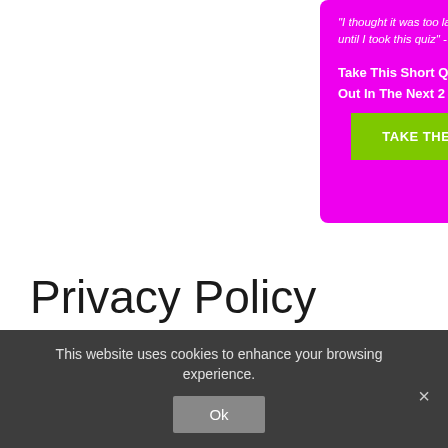[Figure (infographic): Magenta/purple promotional box with italic quote text, bold call-to-action text, and a green 'TAKE THE QUIZ NOW!' button]
Privacy Policy
Effective Date: May 25th, 2018
This website uses cookies to enhance your browsing experience.